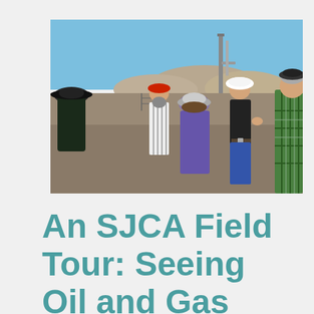[Figure (photo): Group of people standing in a circle outdoors at an oil and gas facility. One person wearing a white hard hat appears to be speaking. Industrial equipment including a tall pipe/tower is visible in the background along with rocky hills under a clear blue sky. People are wearing various hats and casual/outdoor clothing.]
An SJCA Field Tour: Seeing Oil and Gas Up Cl...